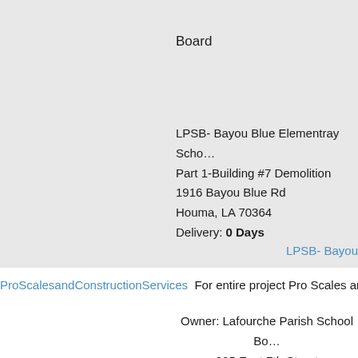Board
LPSB- Bayou Blue Elementray School
Part 1-Building #7 Demolition
1916 Bayou Blue Rd
Houma, LA 70364
Delivery: 0 Days
LPSB- Bayou
ProScalesandConstructionServices  For entire project Pro Scales and Co
Owner: Lafourche Parish School Bo
805 East 7th Street
Thibodaux, LA 70301